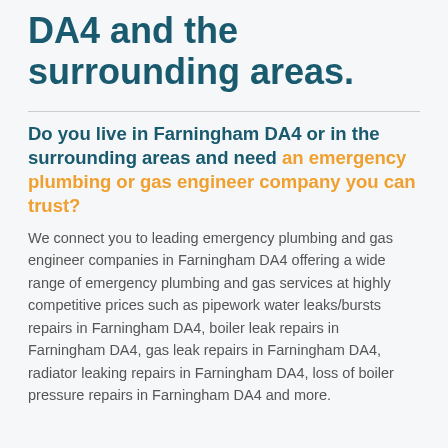DA4 and the surrounding areas.
Do you live in Farningham DA4 or in the surrounding areas and need an emergency plumbing or gas engineer company you can trust?
We connect you to leading emergency plumbing and gas engineer companies in Farningham DA4 offering a wide range of emergency plumbing and gas services at highly competitive prices such as pipework water leaks/bursts repairs in Farningham DA4, boiler leak repairs in Farningham DA4, gas leak repairs in Farningham DA4, radiator leaking repairs in Farningham DA4, loss of boiler pressure repairs in Farningham DA4 and more.